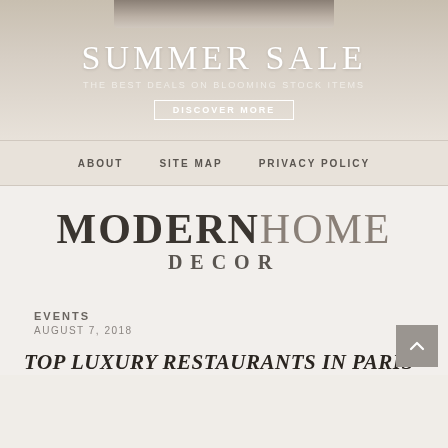[Figure (illustration): Banner advertisement for a summer sale with a furniture/home decor product image at top, large 'SUMMER SALE' text, subtitle 'THE BEST DEALS ON BLOOMING STOCK ITEMS', and a 'DISCOVER MORE' button on a warm grey/beige background.]
ABOUT   SITE MAP   PRIVACY POLICY
MODERNHOME DECOR
EVENTS
AUGUST 7, 2018
TOP LUXURY RESTAURANTS IN PARIS